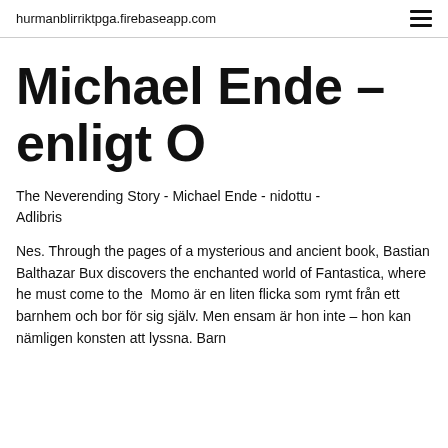hurmanblirriktpga.firebaseapp.com
Michael Ende – enligt O
The Neverending Story - Michael Ende - nidottu - Adlibris
Nes. Through the pages of a mysterious and ancient book, Bastian Balthazar Bux discovers the enchanted world of Fantastica, where he must come to the  Momo är en liten flicka som rymt från ett barnhem och bor för sig själv. Men ensam är hon inte – hon kan nämligen konsten att lyssna. Barn